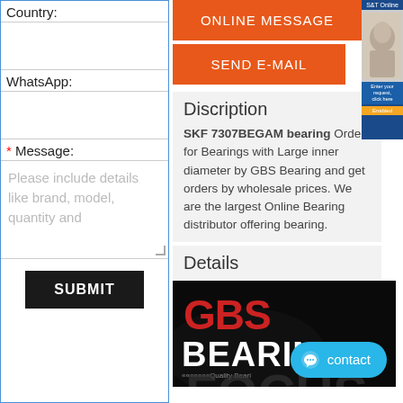Country:
WhatsApp:
* Message:
Please include details like brand, model, quantity and
SUBMIT
ONLINE MESSAGE
SEND E-MAIL
Discription
SKF 7307BEGAM bearing Order for Bearings with Large inner diameter by GBS Bearing and get orders by wholesale prices. We are the largest Online Bearing distributor offering bearing.
Details
[Figure (logo): GBS Bearing logo on dark background with 'Quality Beari...' text and partial 'FOCUS' text below]